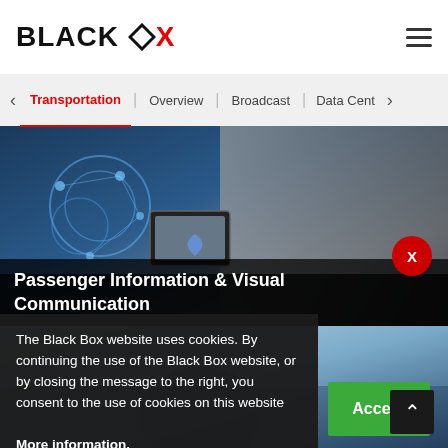BLACK BOX
Transportation | Overview | Broadcast | Data Cent
[Figure (photo): Technology/transportation themed image with digital overlays, IoT icons, person using tablet, cityscape]
Passenger Information & Visual Communication
The Black Box website uses cookies. By continuing the use of the Black Box website, or by closing the message to the right, you consent to the use of cookies on this website More information.
[Figure (photo): Second transportation image with person in car, blurred background]